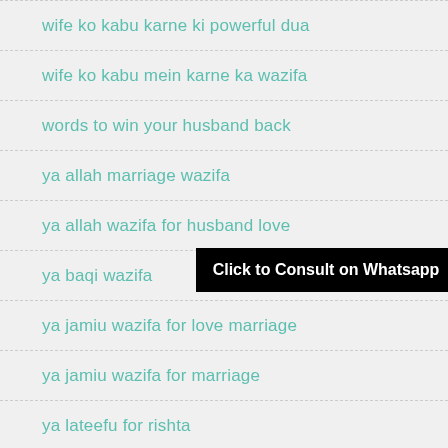wife ko kabu karne ki powerful dua
wife ko kabu mein karne ka wazifa
words to win your husband back
ya allah marriage wazifa
ya allah wazifa for husband love
ya baqi wazifa
ya jamiu wazifa for love marriage
ya jamiu wazifa for marriage
ya lateefu for rishta
ya malikul kareem
[Figure (other): Black banner overlay with text 'Click to Consult on Whatsapp']